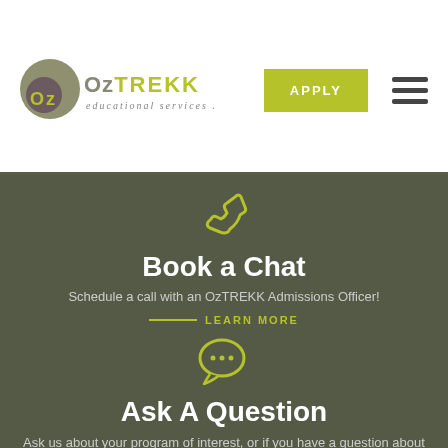[Figure (logo): OzTREKK educational services logo with circular icon]
APPLY
[Figure (infographic): Phone icon, Book a Chat section, Learn More link, Chat bubble icon, Ask A Question section with description text on dark green background]
Book a Chat
Schedule a call with an OzTREKK Admissions Officer!
LEARN MORE
Ask A Question
Ask us about your program of interest, or if you have a question about our services.